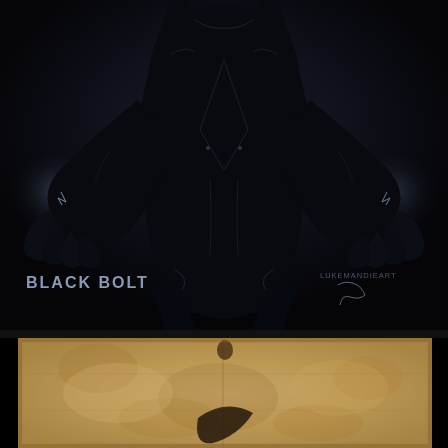[Figure (illustration): Dark concept art illustration of Black Bolt, a Marvel Comics character, shown from the torso up in a dark armored suit with subtle glowing energy around the hands. The figure is mostly silhouetted against a dark background with faint suit detail lines visible. Text 'BLACK BOLT' appears in the lower left in grey bold letters, and 'LUKEMANDIEART' with a signature appears in the lower right.]
[Figure (photo): Aged parchment or old paper texture, tan/beige/brown in color with creases and staining. A dark curved shape (possibly a Nike swoosh or similar logo/mark) is partially visible at the bottom center of the parchment.]